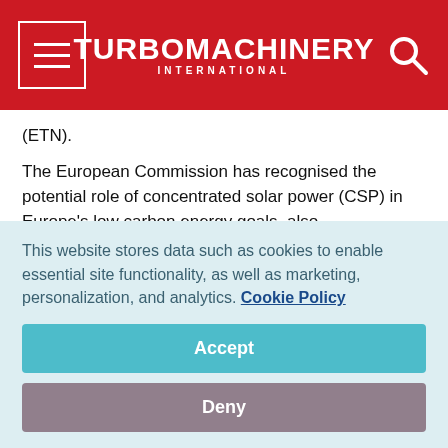TURBOMACHINERY INTERNATIONAL
(ETN).
The European Commission has recognised the potential role of concentrated solar power (CSP) in Europe's low carbon energy goals, also acknowledging the challenges associated with the technology, such as the necessary improvements in predictability and dispatchability of CSP plants. These challenges were addressed in the OMSoP project, with a system aimed at making the CSP more robust
This website stores data such as cookies to enable essential site functionality, as well as marketing, personalization, and analytics. Cookie Policy
Accept
Deny